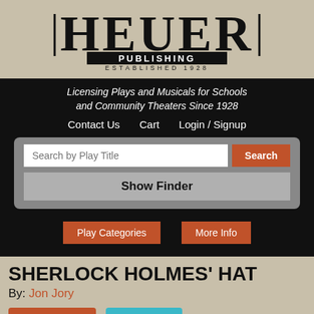[Figure (logo): Heuer Publishing logo — large serif HEUER text with PUBLISHING below and ESTABLISHED 1928 beneath]
Licensing Plays and Musicals for Schools and Community Theaters Since 1928
Contact Us   Cart   Login / Signup
Search by Play Title [Search button] Show Finder
Play Categories   More Info
SHERLOCK HOLMES' HAT
By: Jon Jory
Add to Cart   Wish List
Script: $6.50
Notebook Script: $10.75